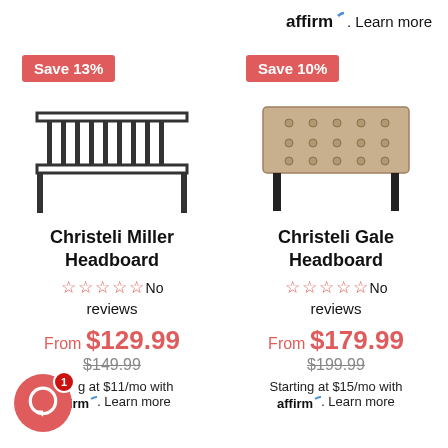affirm. Learn more
[Figure (photo): Christeli Miller Headboard - metal bar style headboard]
[Figure (photo): Christeli Gale Headboard - upholstered tufted beige headboard]
Save 13%
Save 10%
Christeli Miller Headboard
Christeli Gale Headboard
No reviews
No reviews
From $129.99
$149.99
From $179.99
$199.99
Starting at $11/mo with affirm. Learn more
Starting at $15/mo with affirm. Learn more